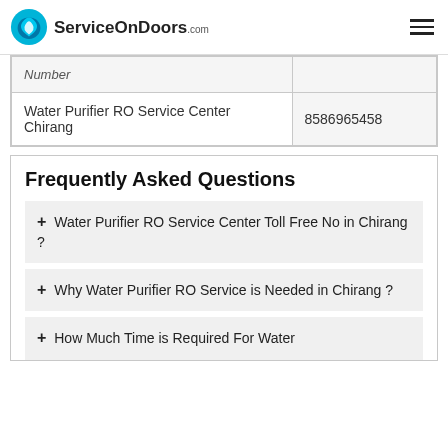ServiceOnDoors.com
|  | Number |
| --- | --- |
| Water Purifier RO Service Center Chirang | 8586965458 |
Frequently Asked Questions
+ Water Purifier RO Service Center Toll Free No in Chirang ?
+ Why Water Purifier RO Service is Needed in Chirang ?
+ How Much Time is Required For Water